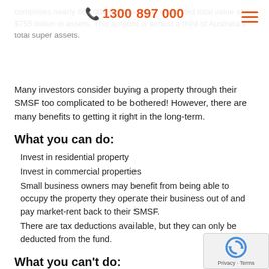1300 897 000
comprises nearly 600 000 funds with an estimated total value of $755 billion in assets. This amount is almost a third of Australia's total super assets.
Many investors consider buying a property through their SMSF too complicated to be bothered! However, there are many benefits to getting it right in the long-term.
What you can do:
Invest in residential property
Invest in commercial properties
Small business owners may benefit from being able to occupy the property they operate their business out of and pay market-rent back to their SMSF.
There are tax deductions available, but they can only be deducted from the fund.
What you can't do:
Transfer an existing residential investment property to property held under an SMSF